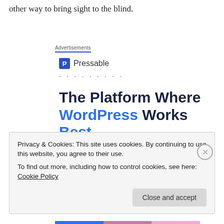other way to bring sight to the blind.
Advertisements
[Figure (logo): Pressable logo with blue 'P' icon and name 'Pressable', followed by dot separators]
The Platform Where WordPress Works Best
Privacy & Cookies: This site uses cookies. By continuing to use this website, you agree to their use.
To find out more, including how to control cookies, see here: Cookie Policy
Close and accept